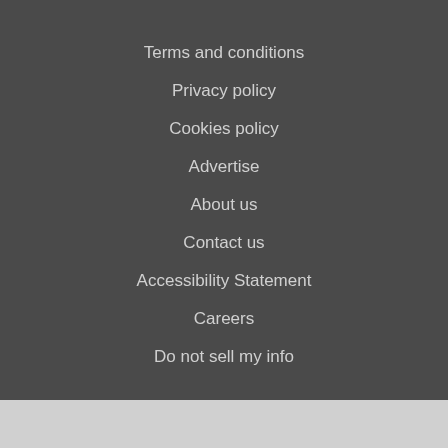Terms and conditions
Privacy policy
Cookies policy
Advertise
About us
Contact us
Accessibility Statement
Careers
Do not sell my info